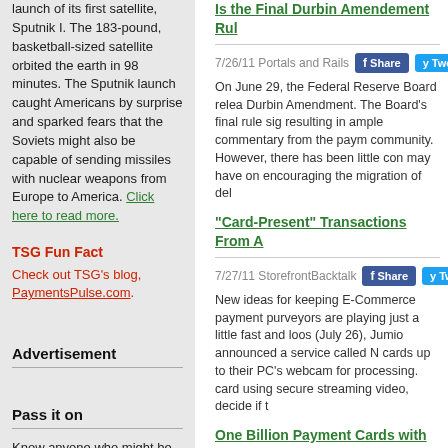launch of its first satellite, Sputnik I. The 183-pound, basketball-sized satellite orbited the earth in 98 minutes. The Sputnik launch caught Americans by surprise and sparked fears that the Soviets might also be capable of sending missiles with nuclear weapons from Europe to America. Click here to read more.
TSG Fun Fact
Check out TSG's blog, PaymentsPulse.com.
Advertisement
Pass it on
Know anyone who might be
Is the Final Durbin Amendement Rul
7/26/11 Portals and Rails
On June 29, the Federal Reserve Board relea Durbin Amendment. The Board's final rule sig resulting in ample commentary from the paym community. However, there has been little con may have on encouraging the migration of del
"Card-Present" Transactions From A
7/27/11 StorefrontBacktalk
New ideas for keeping E-Commerce payment purveyors are playing just a little fast and loos (July 26), Jumio announced a service called N cards up to their PC's webcam for processing. card using secure streaming video, decide if t
One Billion Payment Cards with Con